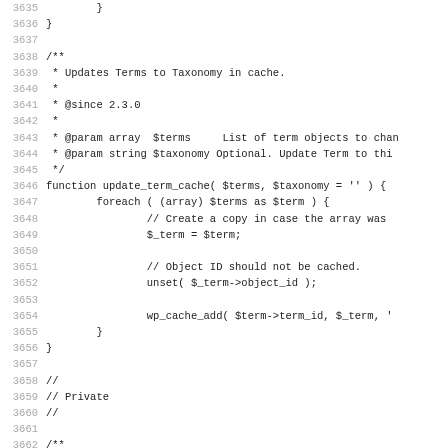Source code listing, lines 3635-3667, showing PHP functions update_term_cache and the beginning of a private section with a taxonomy children retrieval function.